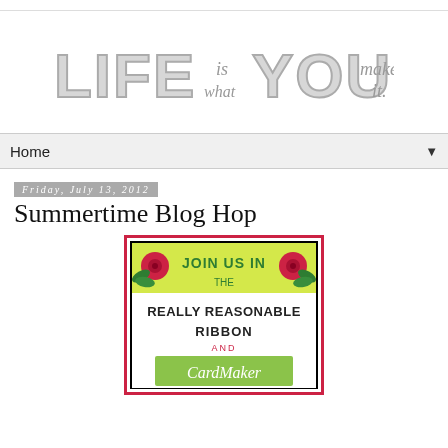[Figure (logo): Blog logo reading 'LIFE is what YOU make it.' in stylized gray hand-drawn lettering]
Home
Friday, July 13, 2012
Summertime Blog Hop
[Figure (illustration): Promotional image for 'Really Reasonable Ribbon and CardMaker' blog hop, with roses, green leaves, pink border, text reading 'JOIN US IN THE REALLY REASONABLE RIBBON AND CardMaker']